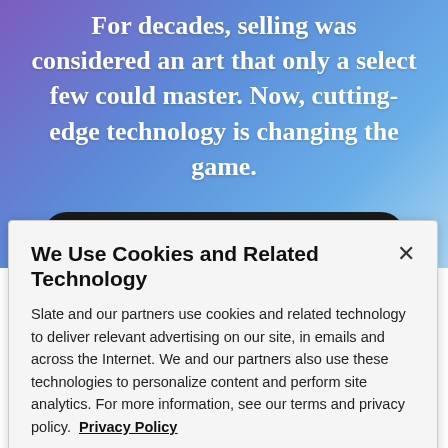[Figure (screenshot): Hero banner with gradient background (purple to blue) containing quote text and a 'Watch the Video Now' button]
For decades, selling was considered an art that only a select few could master. Now, cutting-edge technology is changing the game.
WATCH THE VIDEO NOW
We Use Cookies and Related Technology
Slate and our partners use cookies and related technology to deliver relevant advertising on our site, in emails and across the Internet. We and our partners also use these technologies to personalize content and perform site analytics. For more information, see our terms and privacy policy. Privacy Policy
OK